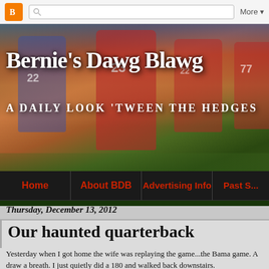Blogger toolbar with icon, search bar, and More button
[Figure (photo): Bernie's Dawg Blawg website header with football game photo background showing players in red and blue uniforms, stadium crowd]
Bernie's Dawg Blawg
A DAILY LOOK 'TWEEN THE HEDGES
Navigation: Home | About BDB | Advertising Info | Past S...
Thursday, December 13, 2012
Our haunted quarterback
Yesterday when I got home the wife was replaying the game...the Bama game. A draw a breath. I just quietly did a 180 and walked back downstairs.
And I thought I had it bad.
Georgia quarterback Aaron Murray says he has yet to move past what o championship game, when the Bulldogs' hopes for an upset of Alabama  Tide's 5-yard line.
"I can't sleep at night," Murray said Wednesday in his first interview sin